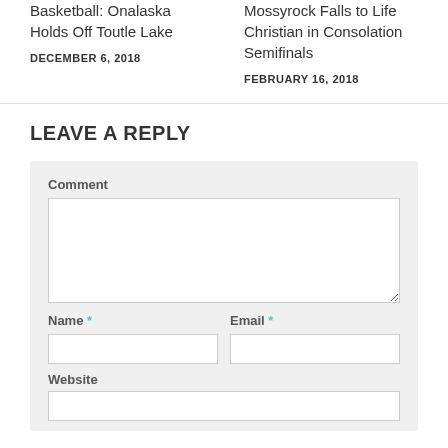Basketball: Onalaska Holds Off Toutle Lake
DECEMBER 6, 2018
Mossyrock Falls to Life Christian in Consolation Semifinals
FEBRUARY 16, 2018
LEAVE A REPLY
Comment
Name *
Email *
Website